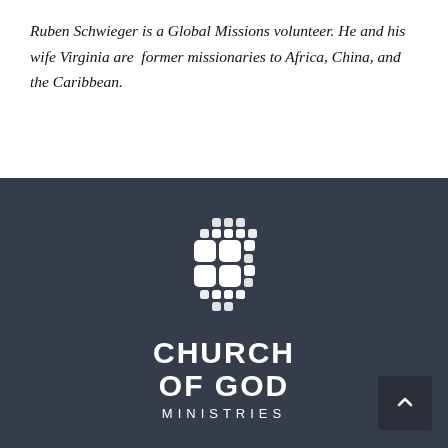Ruben Schwieger is a Global Missions volunteer. He and his wife Virginia are former missionaries to Africa, China, and the Caribbean.
[Figure (logo): Church of God Ministries logo: white mosaic grid icon above the text 'CHURCH OF GOD MINISTRIES' in white on dark background]